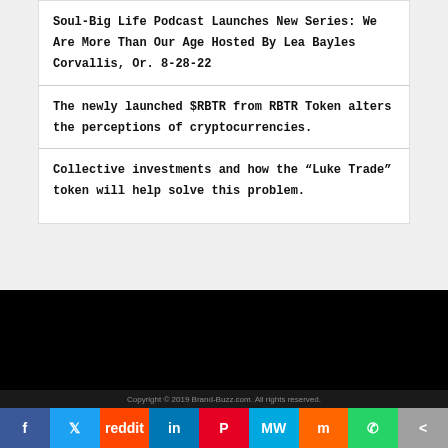Soul-Big Life Podcast Launches New Series: We Are More Than Our Age Hosted By Lea Bayles Corvallis, Or. 8-28-22
The newly launched $RBTR from RBTR Token alters the perceptions of cryptocurrencies.
Collective investments and how the “Luke Trade” token will help solve this problem.
Copyright © 2019 Brand-Buzz.com. All rights reserved.